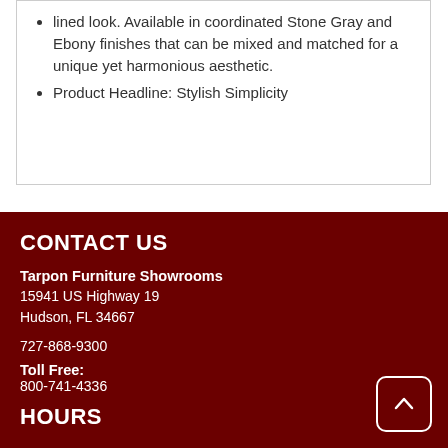lined look. Available in coordinated Stone Gray and Ebony finishes that can be mixed and matched for a unique yet harmonious aesthetic.
Product Headline: Stylish Simplicity
CONTACT US
Tarpon Furniture Showrooms
15941 US Highway 19
Hudson, FL 34667
727-868-9300
Toll Free:
800-741-4336
HOURS